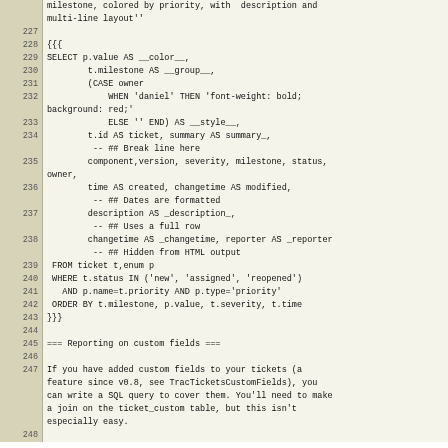milestone, colored by priority, with  description and multi-line layout''
227
228 {{{
229 SELECT p.value AS __color__,
230         t.milestone AS __group__,
231         (CASE owner
232             WHEN 'daniel' THEN 'font-weight: bold; background: red;'
233             ELSE '' END) AS __style__,
234         t.id AS ticket, summary AS summary_,
         -- ## Break line here
235         component,version, severity, milestone, status, owner,
236         time AS created, changetime AS modified,
         -- ## Dates are formatted
237         description AS _description_,
         -- ## Uses a full row
238         changetime AS _changetime, reporter AS _reporter
         -- ## Hidden from HTML output
239  FROM ticket t,enum p
240  WHERE t.status IN ('new', 'assigned', 'reopened')
241    AND p.name=t.priority AND p.type='priority'
242  ORDER BY t.milestone, p.value, t.severity, t.time
243 }}}
244
=== Reporting on custom fields ===
246
247 If you have added custom fields to your tickets (a feature since v0.8, see TracTicketsCustomFields), you can write a SQL query to cover them. You'll need to make a join on the ticket_custom table, but this isn't especially easy.
248